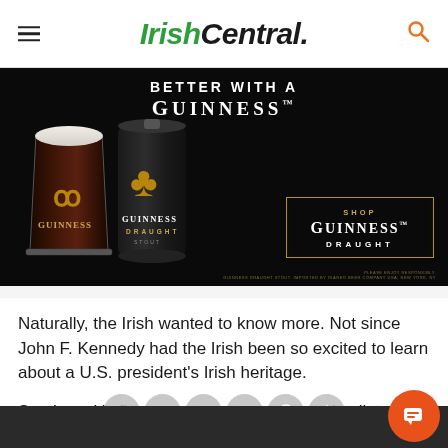IrishCentral.
[Figure (photo): Guinness advertisement: 'Better With A Guinness' showing a pint glass and can of Guinness Draught on black background, with 'Shop Guinness Draught' call to action box with gold border.]
Naturally, the Irish wanted to know more. Not since John F. Kennedy had the Irish been so excited to learn about a U.S. president's Irish heritage.
Smolenyak's firs[t step tha]ng [b]oa[rd] s[o] [e]xcise lin[k]